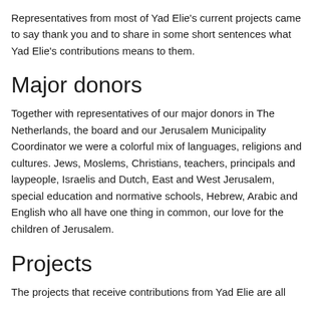Representatives from most of Yad Elie's current projects came to say thank you and to share in some short sentences what Yad Elie's contributions means to them.
Major donors
Together with representatives of our major donors in The Netherlands, the board and our Jerusalem Municipality Coordinator we were a colorful mix of languages, religions and cultures. Jews, Moslems, Christians, teachers, principals and laypeople, Israelis and Dutch, East and West Jerusalem, special education and normative schools, Hebrew, Arabic and English who all have one thing in common, our love for the children of Jerusalem.
Projects
The projects that receive contributions from Yad Elie are all